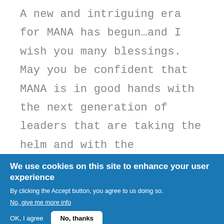A new and intriguing era for MANA has begun…and I wish you many blessings. May you be confident that MANA is in good hands with the next generation of leaders that are taking the helm and with the generation of Founding Mothers standing side-by-side to guide them. May you be generous in supporting the vision for the future articulated by your new and inspiring
We use cookies on this site to enhance your user experience
By clicking the Accept button, you agree to us doing so.
No, give me more info
OK, I agree    No, thanks